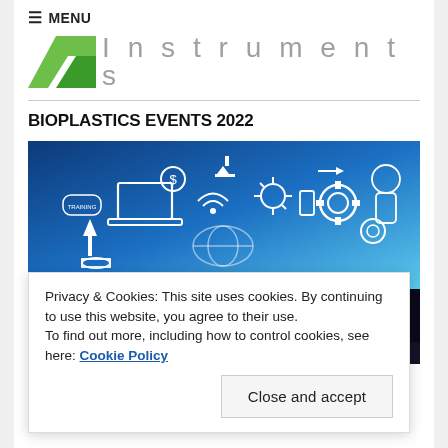≡ MENU
[Figure (logo): Green angular logo shape with 'Instruments' text in light gray]
BIOPLASTICS EVENTS 2022
[Figure (illustration): Blue technology illustration with digital icons, gears, laptop, globe, wifi, arrows representing digital transformation]
[Figure (photo): Dark photo of audience/crowd at an event]
Privacy & Cookies: This site uses cookies. By continuing to use this website, you agree to their use.
To find out more, including how to control cookies, see here: Cookie Policy
Close and accept